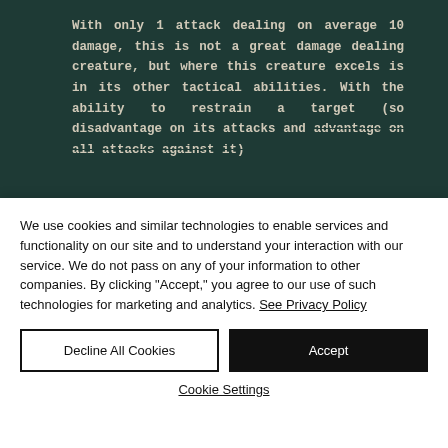[Figure (screenshot): Dark teal/green background with article text in cream monospace font describing a creature's combat statistics.]
With only 1 attack dealing on average 10 damage, this is not a great damage dealing creature, but where this creature excels is in its other tactical abilities. With the ability to restrain a target (so disadvantage on its attacks and advantage on all attacks against it)
We use cookies and similar technologies to enable services and functionality on our site and to understand your interaction with our service. We do not pass on any of your information to other companies. By clicking "Accept," you agree to our use of such technologies for marketing and analytics. See Privacy Policy
Decline All Cookies
Accept
Cookie Settings